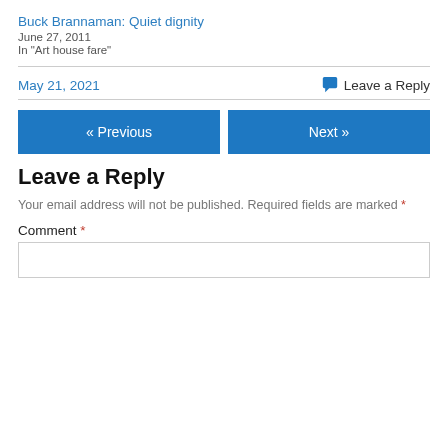Buck Brannaman: Quiet dignity
June 27, 2011
In "Art house fare"
May 21, 2021
Leave a Reply
« Previous
Next »
Leave a Reply
Your email address will not be published. Required fields are marked *
Comment *